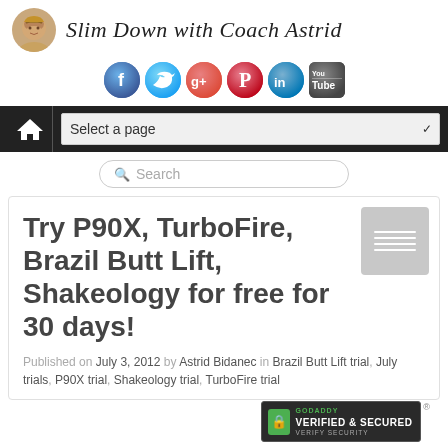Slim Down with Coach Astrid
[Figure (logo): Social media icons row: Facebook, Twitter, Google+, Pinterest, LinkedIn, YouTube]
[Figure (screenshot): Navigation bar with home icon and 'Select a page' dropdown]
[Figure (screenshot): Search bar with magnifying glass icon and placeholder text 'Search']
Try P90X, TurboFire, Brazil Butt Lift, Shakeology for free for 30 days!
Published on July 3, 2012 by Astrid Bidanec in Brazil Butt Lift trial, July trials, P90X trial, Shakeology trial, TurboFire trial
[Figure (logo): GoDaddy Verified & Secured badge]